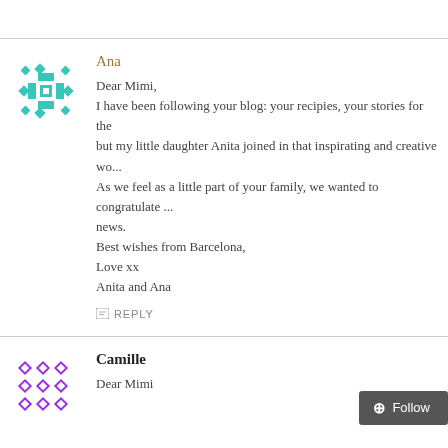[Figure (illustration): Teal/cyan geometric snowflake-style avatar icon for user Ana]
Ana
Dear Mimi,
I have been following your blog: your recipies, your stories for the but my little daughter Anita joined in that inspirating and creative wo... As we feel as a little part of your family, we wanted to congratulate ... news.
Best wishes from Barcelona,
Love xx
Anita and Ana
REPLY
[Figure (illustration): Purple geometric diamond/square pattern avatar icon for user Camille]
Camille
Dear Mimi